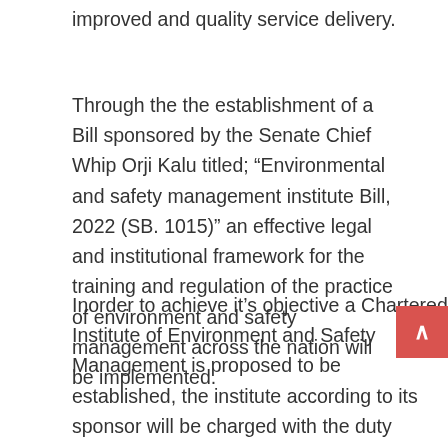improved and quality service delivery.
Through the the establishment of a Bill sponsored by the Senate Chief Whip Orji Kalu titled; “Environmental and safety management institute Bill, 2022 (SB. 1015)” an effective legal and institutional framework for the training and regulation of the practice of environment and safety management across the nation will be implemented.
Inorder to achieve it’s objective a Chartered Institute of Environment and Safety Management is proposed to be established, the institute according to its sponsor will be charged with the duty educating, training, examining and setting standards for training in the field of environment and Safety management. The proposed Institute will also compel the practitioner in the industry to be sufficiently